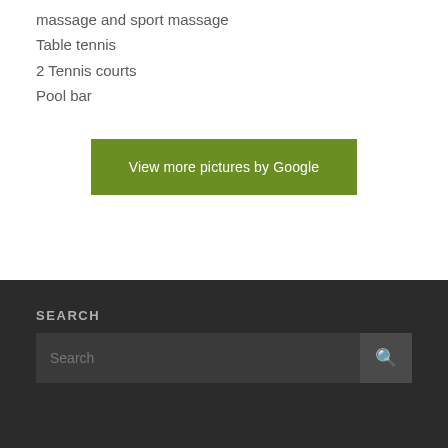massage and sport massage
Table tennis
2 Tennis courts
Pool bar
View more pictures by Google
SEARCH
Search